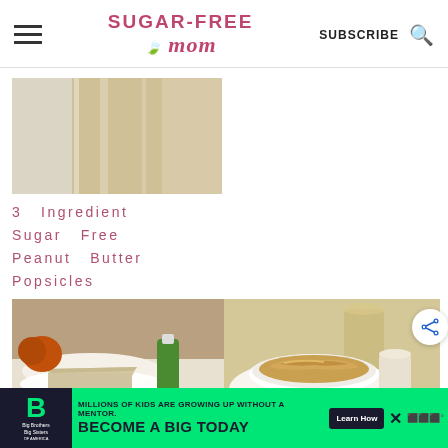Sugar-Free Mom — SUBSCRIBE
[Figure (photo): Close-up photo of peanut butter popsicles with a light cream/tan color]
3 Ingredient Sugar Free Peanut Butter Popsicles
[Figure (photo): Slice of sugar-free keto cheesecake on a plate with pumpkins and a bottle in background]
[Figure (photo): Bowl of sugar-free keto peanut butter spread/dip with swirled top]
Sugar-Free Keto
Sugar-Free Keto
[Figure (infographic): Big Brothers Big Sisters advertisement banner: MILLIONS OF KIDS ARE GROWING UP WITHOUT A MENTOR. BECOME A BIG TODAY — Learn How]